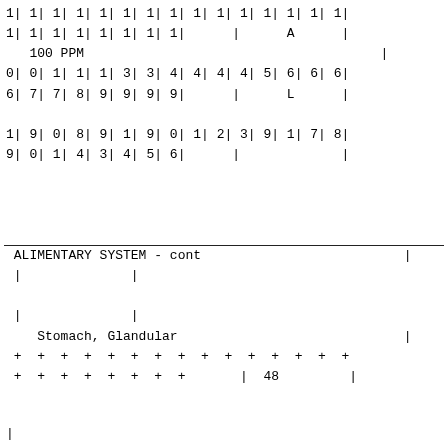1| 1| 1| 1| 1| 1| 1| 1| 1| 1| 1| 1| 1| 1| 1|
1| 1| 1| 1| 1| 1| 1| 1|      |      A      |
   100 PPM                                          |
0| 0| 1| 1| 1| 3| 3| 4| 4| 4| 4| 5| 6| 6| 6|
6| 7| 7| 8| 9| 9| 9| 9|      |      L      |

1| 9| 0| 8| 9| 1| 9| 0| 1| 2| 3| 9| 1| 7| 8|
9| 0| 1| 4| 3| 4| 5| 6|      |             |
ALIMENTARY SYSTEM - cont                           |
|              |

|              |
   Stomach, Glandular                               |
+  +  +  +  +  +  +  +  +  +  +  +  +  +  +
+  +  +  +  +  +  +  +       |  48          |
|